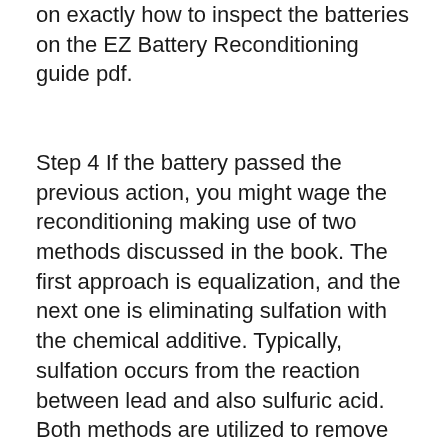on exactly how to inspect the batteries on the EZ Battery Reconditioning guide pdf.
Step 4 If the battery passed the previous action, you might wage the reconditioning making use of two methods discussed in the book. The first approach is equalization, and the next one is eliminating sulfation with the chemical additive. Typically, sulfation occurs from the reaction between lead and also sulfuric acid. Both methods are utilized to remove the sulfation. You will certainly understand extra regarding EZ Battery Reconditioning chemicals exactly how to do it thoroughly in guide.